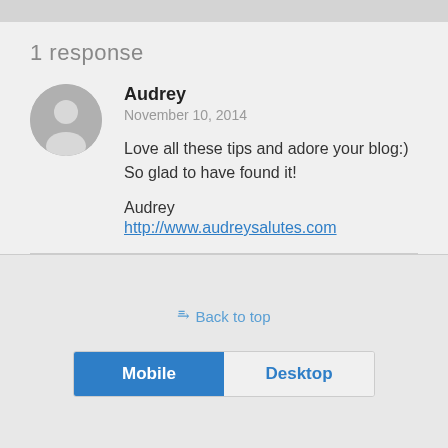1 response
Audrey
November 10, 2014
Love all these tips and adore your blog:) So glad to have found it!

Audrey
http://www.audreysalutes.com
☰ Back to top
Mobile  Desktop